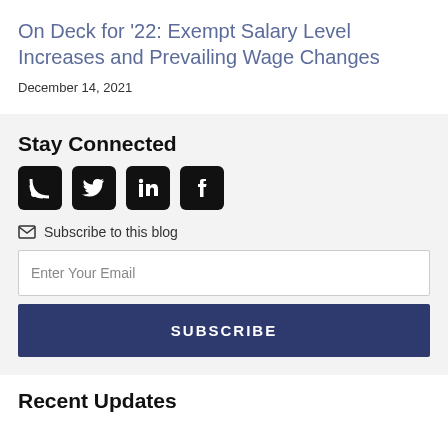On Deck for '22: Exempt Salary Level Increases and Prevailing Wage Changes
December 14, 2021
Stay Connected
[Figure (other): Social media icons: RSS, Twitter, LinkedIn, Facebook]
Subscribe to this blog
Enter Your Email
SUBSCRIBE
Recent Updates